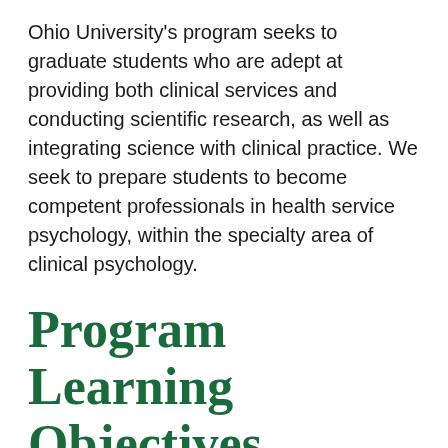Ohio University's program seeks to graduate students who are adept at providing both clinical services and conducting scientific research, as well as integrating science with clinical practice. We seek to prepare students to become competent professionals in health service psychology, within the specialty area of clinical psychology.
Program Learning Objectives
Discipline-Specific Knowledge Base: Educate students about the content issues that presently define the knowledge base in health service psychology, within the specific specialty area